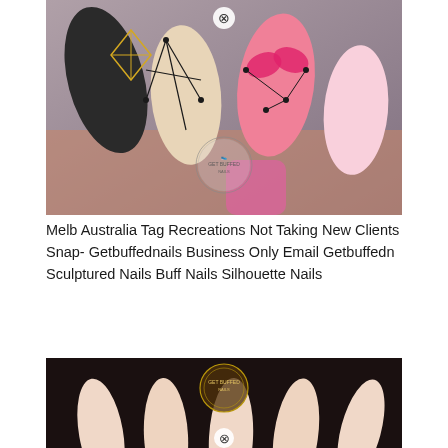[Figure (photo): Close-up photo of decorative nail art featuring pink, black, and beige nails with geometric designs including constellation patterns, black spiderweb lines, pink butterfly shapes, and a gold diamond shape. A circular 'Get Buffed Nails' watermark logo is visible in the center.]
Melb Australia Tag Recreations Not Taking New Clients Snap- Getbuffednails Business Only Email Getbuffedn Sculptured Nails Buff Nails Silhouette Nails
[Figure (photo): Close-up photo of nude/light pink stiletto nails held against a dark background, with a circular 'Get Buffed Nails' logo watermark visible in the center and a close button (X) at the bottom center.]